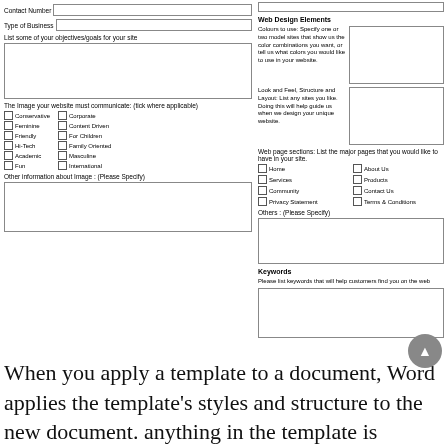Contact Number
Type of Business
List some of your objectives/goals for your site
The Image your website must communicate: (tick where applicable)
Conservative
Feminine
Friendly
Hi-Tech
Academic
Fun
Corporate
Content Driven
For Children
Family Oriented
Masculine
International
Other information about Image : (Please Specify)
Web Design Elements
Colours to use: Specify one or two model sites that show us the color combinations you want, or tell us what colors you would like to use in your website.
Look and Feel, Structure and Layout: List any sites you like. Doing this will help guide us when we design your unique website.
Web page sections: List the major pages that you would like to have in your site.
Home
Services
Community
Privacy Statement
About Us
Products
Contact Us
Terms & Conditions
Others : (Please Specify)
Keywords
Please list keywords that will help customers find you on the web
When you apply a template to a document, Word applies the template's styles and structure to the new document. anything in the template is approachable in